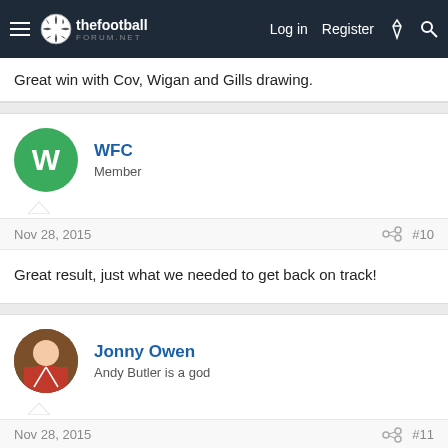thefootballforum.net — Log in | Register
Great win with Cov, Wigan and Gills drawing.
WFC
Member
Nov 28, 2015  #10
Great result, just what we needed to get back on track!
Jonny Owen
Andy Butler is a god
Nov 28, 2015  #11
Deserved that win because of the two great performances in the two games prior that only got us 1 point. Played average